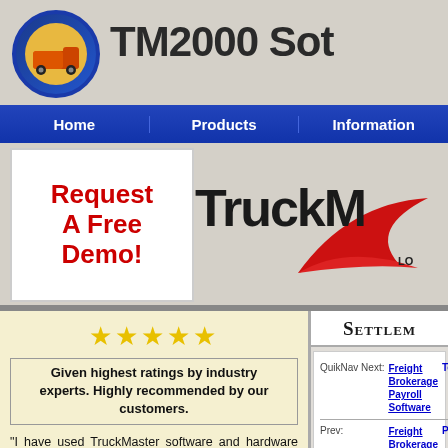TM2000 So(ftware) — website header with navigation: Home | Products | Information
[Figure (logo): TruckMaster logo with red swoosh and 'TruckM...' text, partially cropped]
Request A Free Demo!
★★★★★ Given highest ratings by industry experts. Highly recommended by our customers.
"I have used TruckMaster software and hardware for over 10 years. I am very pleased with not only the product but also the service I have needed and received!"
SETTLEM(ENT)
QuikNav Next: Freight Brokerage Payroll Software | Prev: Freight Brokerage Billing Software | Top | Pri(ce)